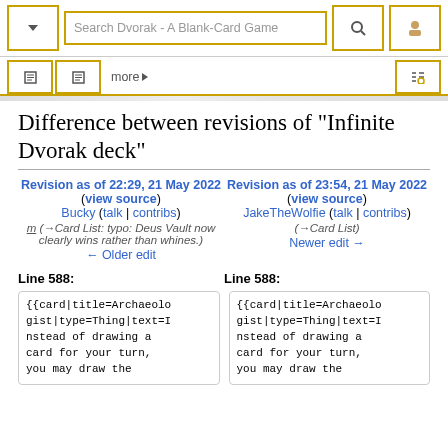Search Dvorak - A Blank-Card Game
Difference between revisions of "Infinite Dvorak deck"
Revision as of 22:29, 21 May 2022 (view source)
Bucky (talk | contribs)
m (→Card List: typo: Deus Vault now clearly wins rather than whines.)
← Older edit
Revision as of 23:54, 21 May 2022 (view source)
JakeTheWolfie (talk | contribs)
(→Card List)
Newer edit →
Line 588:
Line 588:
{{card|title=Archaeologist|type=Thing|text=Instead of drawing a card for your turn, you may draw the
{{card|title=Archaeologist|type=Thing|text=Instead of drawing a card for your turn, you may draw the